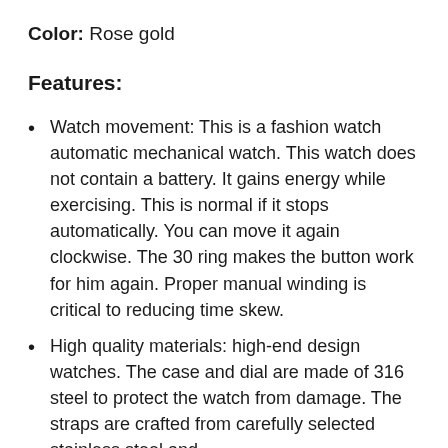Color: Rose gold
Features:
Watch movement: This is a fashion watch automatic mechanical watch. This watch does not contain a battery. It gains energy while exercising. This is normal if it stops automatically. You can move it again clockwise. The 30 ring makes the button work for him again. Proper manual winding is critical to reducing time skew.
High quality materials: high-end design watches. The case and dial are made of 316 steel to protect the watch from damage. The straps are crafted from carefully selected stainless steel and